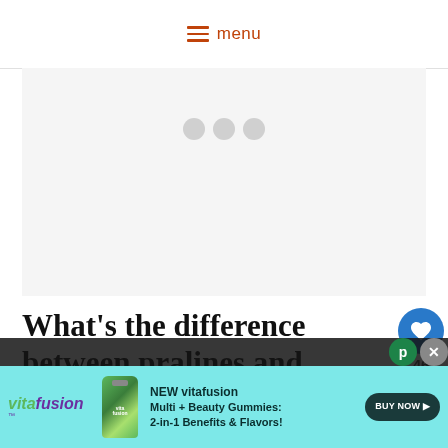menu
[Figure (other): Gray placeholder advertisement area with three gray dots centered]
What's the difference between pralines and brittle?
Praline is typically made with butter, milk, cream, or half and half to give it the hardened texture, then nuts are added... praline is caram...
[Figure (other): vitafusion advertisement banner — NEW vitafusion Multi + Beauty Gummies: 2-in-1 Benefits & Flavors! BUY NOW button]